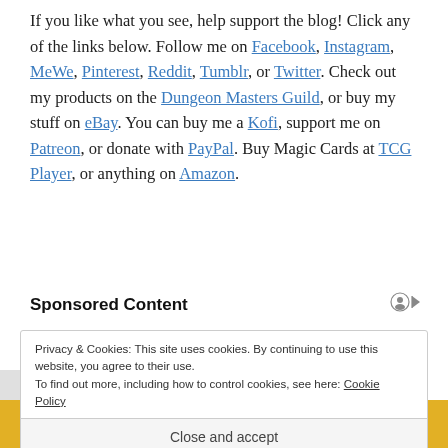If you like what you see, help support the blog! Click any of the links below. Follow me on Facebook, Instagram, MeWe, Pinterest, Reddit, Tumblr, or Twitter. Check out my products on the Dungeon Masters Guild, or buy my stuff on eBay. You can buy me a Kofi, support me on Patreon, or donate with PayPal. Buy Magic Cards at TCG Player, or anything on Amazon.
Sponsored Content
Privacy & Cookies: This site uses cookies. By continuing to use this website, you agree to their use.
To find out more, including how to control cookies, see here: Cookie Policy
Close and accept
[Figure (photo): Bottom strip showing a person in a yellow/orange knitted sweater]